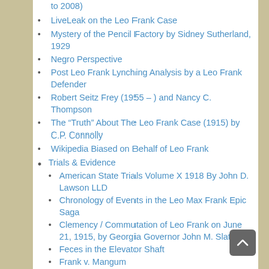to 2008)
LiveLeak on the Leo Frank Case
Mystery of the Pencil Factory by Sidney Sutherland, 1929
Negro Perspective
Post Leo Frank Lynching Analysis by a Leo Frank Defender
Robert Seitz Frey (1955 – ) and Nancy C. Thompson
The “Truth” About The Leo Frank Case (1915) by C.P. Connolly
Wikipedia Biased on Behalf of Leo Frank
Trials & Evidence
American State Trials Volume X 1918 By John D. Lawson LLD
Chronology of Events in the Leo Max Frank Epic Saga
Clemency / Commutation of Leo Frank on June 21, 1915, by Georgia Governor John M. Slaton
Feces in the Elevator Shaft
Frank v. Mangum
Grand Jury Indictment of Leo M. Frank, Saturday May 24, 1913, in the Superior Court of Atlanta,